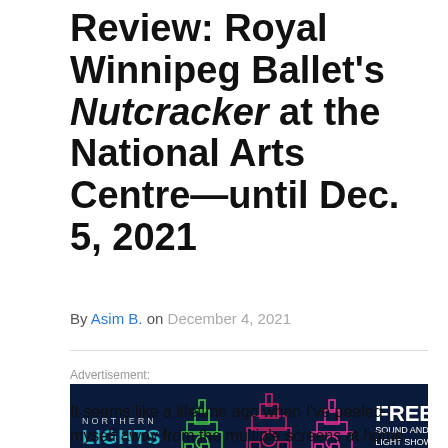Review: Royal Winnipeg Ballet's Nutcracker at the National Arts Centre—until Dec. 5, 2021
By Asim B. on December 4, 2021
Advertisement:
[Figure (infographic): Northern Lights - Free Sound and Light Show on Parliament Hill advertisement banner by Canada. Dark navy background with colorful outline illustrations of Big Ben towers in green, red, and pink. Teal right panel with Canada wordmark.]
It seems like a lifetime ago when I've peeled myself away from the multiple screens at home and work